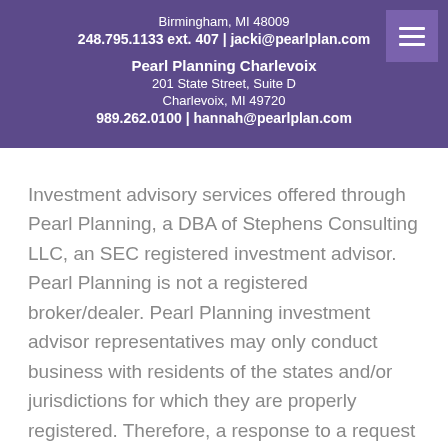Birmingham, MI 48009
248.795.1133 ext. 407 | jacki@pearlplan.com
Pearl Planning Charlevoix
201 State Street, Suite D
Charlevoix, MI 49720
989.262.0100 | hannah@pearlplan.com
Investment advisory services offered through Pearl Planning, a DBA of Stephens Consulting LLC, an SEC registered investment advisor. Pearl Planning is not a registered broker/dealer. Pearl Planning investment advisor representatives may only conduct business with residents of the states and/or jurisdictions for which they are properly registered. Therefore, a response to a request for information may be delayed. Please note that not all the